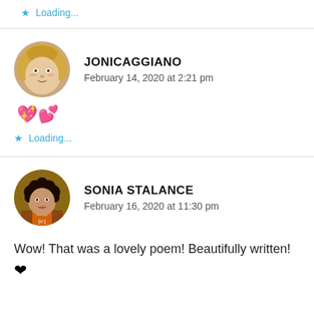★ Loading...
JONICAGGIANO
February 14, 2020 at 2:21 pm
💖💕
★ Loading...
SONIA STALANCE
February 16, 2020 at 11:30 pm
Wow! That was a lovely poem! Beautifully written!
❤